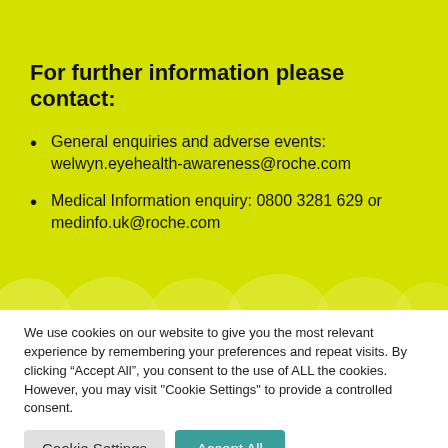For further information please contact:
General enquiries and adverse events: welwyn.eyehealth-awareness@roche.com
Medical Information enquiry: 0800 3281 629 or medinfo.uk@roche.com
We use cookies on our website to give you the most relevant experience by remembering your preferences and repeat visits. By clicking “Accept All”, you consent to the use of ALL the cookies. However, you may visit "Cookie Settings" to provide a controlled consent.